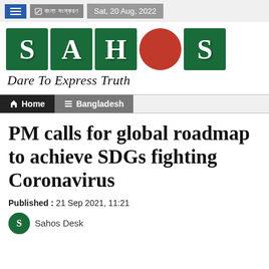Sat, 20 Aug, 2022
[Figure (logo): SAHOS logo with green tiles spelling S, A, H, S and a red circle in the center, with tagline 'Dare To Express Truth']
Home  Bangladesh
PM calls for global roadmap to achieve SDGs fighting Coronavirus
Published : 21 Sep 2021, 11:21
Sahos Desk